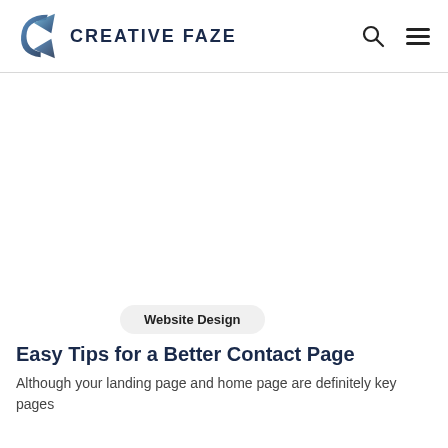CREATIVE FAZE
[Figure (illustration): White/blank advertisement or image area below the header navigation]
Website Design
Easy Tips for a Better Contact Page
Although your landing page and home page are definitely key pages